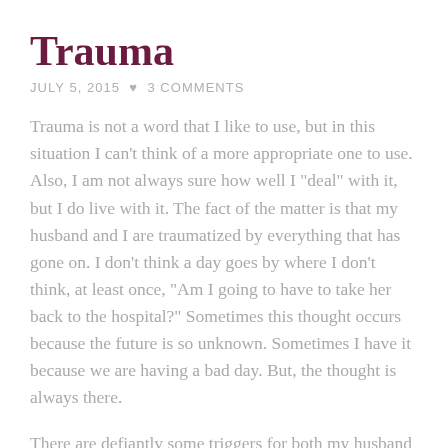Trauma
JULY 5, 2015  ♥  3 COMMENTS
Trauma is not a word that I like to use, but in this situation I can't think of a more appropriate one to use. Also, I am not always sure how well I "deal" with it, but I do live with it. The fact of the matter is that my husband and I are traumatized by everything that has gone on. I don't think a day goes by where I don't think, at least once, "Am I going to have to take her back to the hospital?" Sometimes this thought occurs because the future is so unknown. Sometimes I have it because we are having a bad day. But, the thought is always there.
There are defiantly some triggers for both my husband and I. The two that come to mind are a poor PO (from a bottle) feeding, and throwing up. When Lyra is only willing to take